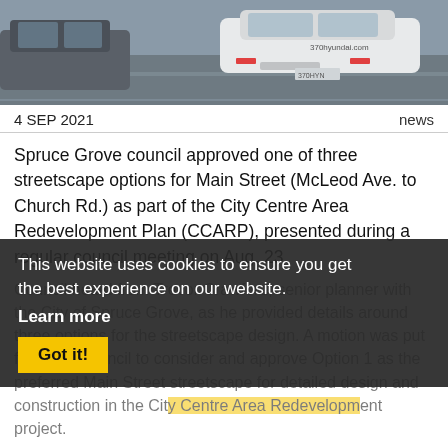[Figure (photo): Photo of cars on a road/parking lot, taken from behind showing rear of white SUV with text '370hyundai.com' visible]
4 SEP 2021   news
Spruce Grove council approved one of three streetscape options for Main Street (McLeod Ave. to Church Rd.) as part of the City Centre Area Redevelopment Plan (CCARP), presented during a regular council meeting on Aug. 23.
Council heard from Trevor Crawford, senior planner with the City of Spruce Grove, as he provided details around three options for the streetscape design. A motion was put forth that council to consider and approve Option 1 as the preferred Main Street streetscape for detailed design and construction in the City Centre Area Redevelopment project.
"We've previously been to council and discussed the cross section of McLeod Ave., so next up is Main Street. It's
This website uses cookies to ensure you get the best experience on our website.
Learn more
Got it!